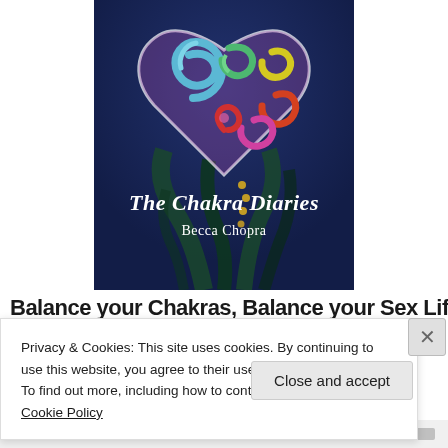[Figure (illustration): Book cover of 'The Chakra Diaries' by Becca Chopra. Features a colorful painted heart shape with swirling spirals in blue, green, red, orange, yellow colors against a dark blue background with flowing plant-like forms at the bottom. Title text 'The Chakra Diaries' in white script and 'Becca Chopra' below.]
Balance your Chakras, Balance your Sex Life!
Privacy & Cookies: This site uses cookies. By continuing to use this website, you agree to their use.
To find out more, including how to control cookies, see here: Cookie Policy